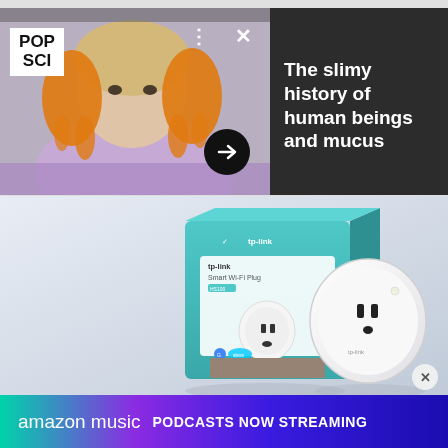[Figure (screenshot): Pop Science article card showing a child with orange slime-covered hands, with POP SCI logo, dots/close buttons, arrow button, and dark panel with article title]
The slimy history of human beings and mucus
[Figure (photo): TP-Link Smart Wi-Fi Plug product photo showing the retail box and the plug device on a grey gradient background]
[Figure (screenshot): Amazon Music advertisement banner: 'amazon music PODCASTS NOW STREAMING' on a colorful gradient background (teal to purple to blue)]